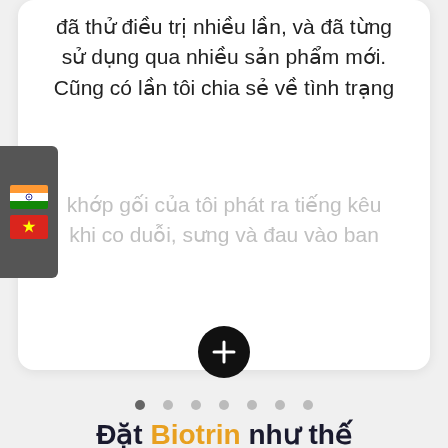đã thử điều trị nhiều lần, và đã từng sử dụng qua nhiều sản phẩm mới. Cũng có lần tôi chia sẻ về tình trạng khớp gối của tôi phát ra tiếng kêu khi co duỗi, sưng và đau vào ban
[Figure (screenshot): Language selector panel showing Indian flag and Vietnamese flag on left side of card]
[Figure (other): Black circular plus button expanding card content]
[Figure (other): Carousel pagination dots, 7 total, first dot active/darker]
Đặt Biotrin như thế nào
[Figure (infographic): Dark navy banner with text 'ĐẾN HẾT KHUYẾN MÃI CÒN LẠI' and social media icons below]